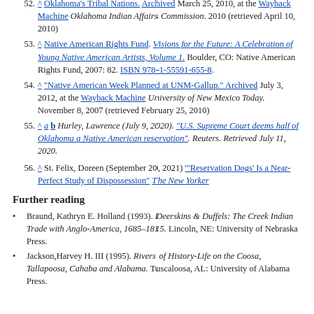52. ^ Oklahoma's Tribal Nations. Archived March 25, 2010, at the Wayback Machine Oklahoma Indian Affairs Commission. 2010 (retrieved April 10, 2010)
53. ^ Native American Rights Fund. Visions for the Future: A Celebration of Young Native American Artists, Volume 1. Boulder, CO: Native American Rights Fund, 2007: 82. ISBN 978-1-55591-655-8.
54. ^ "Native American Week Planned at UNM-Gallup." Archived July 3, 2012, at the Wayback Machine University of New Mexico Today. November 8, 2007 (retrieved February 25, 2010)
55. ^ a b Hurley, Lawrence (July 9, 2020). "U.S. Supreme Court deems half of Oklahoma a Native American reservation". Reuters. Retrieved July 11, 2020.
56. ^ St. Felix, Doreen (September 20, 2021) "'Reservation Dogs' Is a Near-Perfect Study of Dispossession" The New Yorker
Further reading
Braund, Kathryn E. Holland (1993). Deerskins & Duffels: The Creek Indian Trade with Anglo-America, 1685–1815. Lincoln, NE: University of Nebraska Press.
Jackson, Harvey H. III (1995). Rivers of History-Life on the Coosa, Tallapoosa, Cahaba and Alabama. Tuscaloosa, AL: University of Alabama Press.